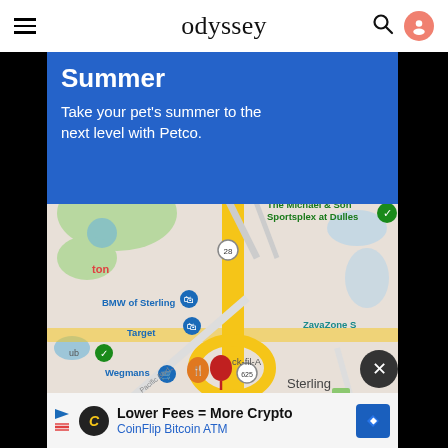odyssey
[Figure (other): Blue Petco advertisement banner with text 'Summer - Take your pet's summer to the next level with Petco.']
[Figure (map): Google Maps screenshot showing Sterling, VA area with landmarks: The Michael & Son Sportsplex at Dulles, BMW of Sterling, Target, Wegmans, Chick-fil-A, ZavaZone S, Pacific Blvd, route 28, route 625, and a red location pin.]
Lower Fees = More Crypto
CoinFlip Bitcoin ATM